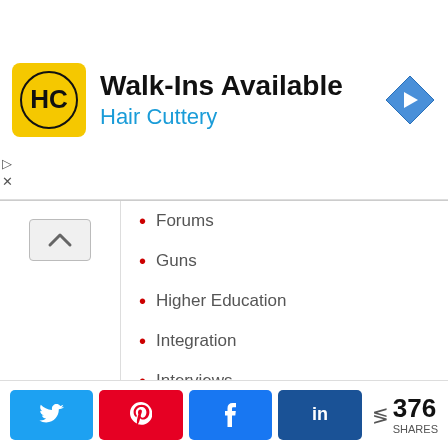[Figure (logo): Hair Cuttery advertisement banner with HC logo, text 'Walk-Ins Available' and 'Hair Cuttery', and a blue navigation arrow icon]
Forums
Guns
Higher Education
Integration
Interviews
Joe Biden
Kevin Huffman
Knox County Schools
Miguel Cardona